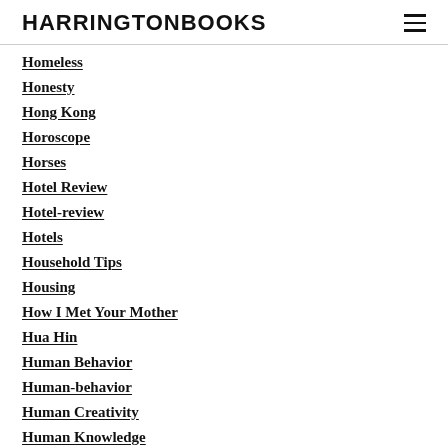HARRINGTONBOOKS
Homeless
Honesty
Hong Kong
Horoscope
Horses
Hotel Review
Hotel-review
Hotels
Household Tips
Housing
How I Met Your Mother
Hua Hin
Human Behavior
Human-behavior
Human Creativity
Human Knowledge
Human Mind